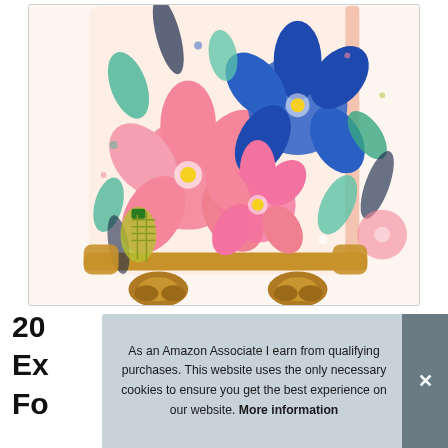[Figure (photo): Close-up photo of the bottom portion of a floral-patterned luggage suitcase with tan/brown spinner wheels, showing colorful tropical flowers (pink, blue, yellow-green), pineapples, and leaves on a white background with a pink zipper trim.]
20
Ex
Fo
As an Amazon Associate I earn from qualifying purchases. This website uses the only necessary cookies to ensure you get the best experience on our website. More information